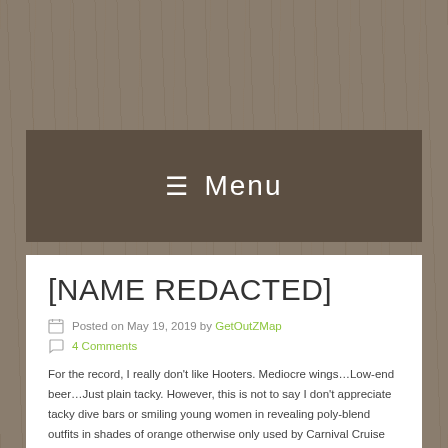≡ Menu
[NAME REDACTED]
Posted on May 19, 2019 by GetOutZMap
4 Comments
For the record, I really don't like Hooters. Mediocre wings…Low-end beer…Just plain tacky. However, this is not to say I don't appreciate tacky dive bars or smiling young women in revealing poly-blend outfits in shades of orange otherwise only used by Carnival Cruise Lines…. So in about 2004, I found myself exhibiting at a trade show right around the time 3M acquired CUNO, the company I formerly worked for. I've worked